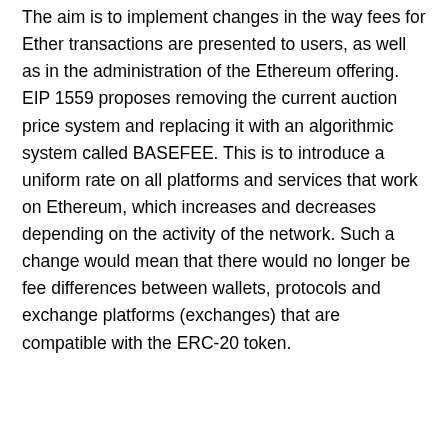The aim is to implement changes in the way fees for Ether transactions are presented to users, as well as in the administration of the Ethereum offering. EIP 1559 proposes removing the current auction price system and replacing it with an algorithmic system called BASEFEE. This is to introduce a uniform rate on all platforms and services that work on Ethereum, which increases and decreases depending on the activity of the network. Such a change would mean that there would no longer be fee differences between wallets, protocols and exchange platforms (exchanges) that are compatible with the ERC-20 token.